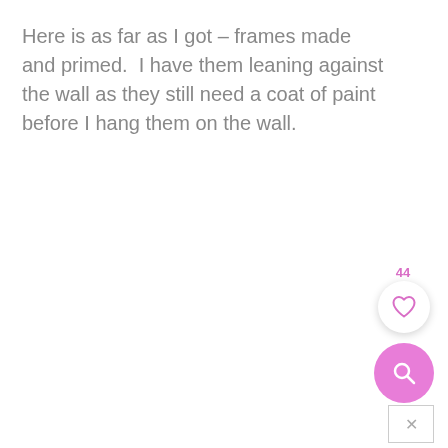Here is as far as I got – frames made and primed.  I have them leaning against the wall as they still need a coat of paint before I hang them on the wall.